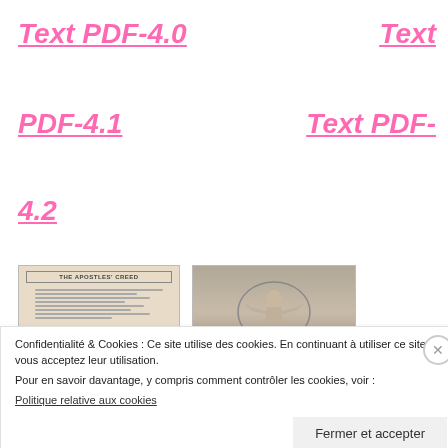Text PDF-4.0
Text
PDF-4.1
Text PDF-
4.2
[Figure (photo): Scanned document showing 'THE APOSTLES CREED' text with decorative border]
[Figure (illustration): Religious illustration showing a figure with raised arms in a circular frame]
Confidentialité & Cookies : Ce site utilise des cookies. En continuant à utiliser ce site, vous acceptez leur utilisation.
Pour en savoir davantage, y compris comment contrôler les cookies, voir :
Politique relative aux cookies
Fermer et accepter